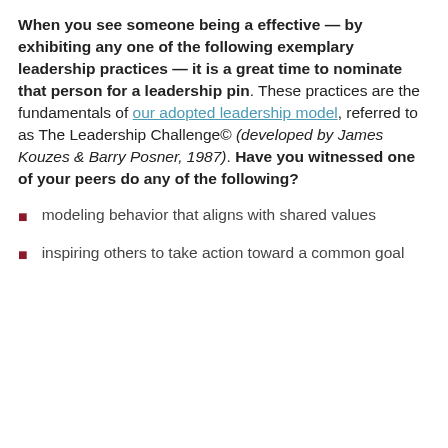When you see someone being a effective — by exhibiting any one of the following exemplary leadership practices — it is a great time to nominate that person for a leadership pin. These practices are the fundamentals of our adopted leadership model, referred to as The Leadership Challenge© (developed by James Kouzes & Barry Posner, 1987). Have you witnessed one of your peers do any of the following?
modeling behavior that aligns with shared values
inspiring others to take action toward a common goal